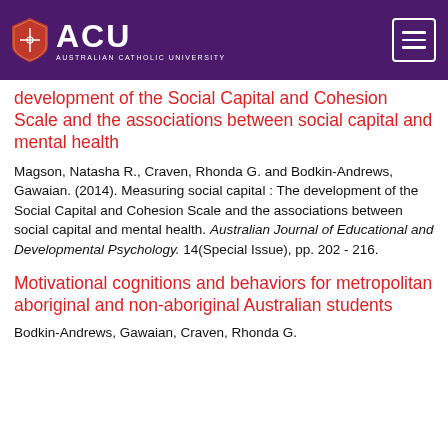ACU - Australian Catholic University
development of the Social Capital and Cohesion Scale and the associations between social capital and mental health
Magson, Natasha R., Craven, Rhonda G. and Bodkin-Andrews, Gawaian. (2014). Measuring social capital : The development of the Social Capital and Cohesion Scale and the associations between social capital and mental health. Australian Journal of Educational and Developmental Psychology. 14(Special Issue), pp. 202 - 216.
Motivational cognitions and behaviors for metropolitan aboriginal and non-aboriginal Australian students
Bodkin-Andrews, Gawaian, Craven, Rhonda G.